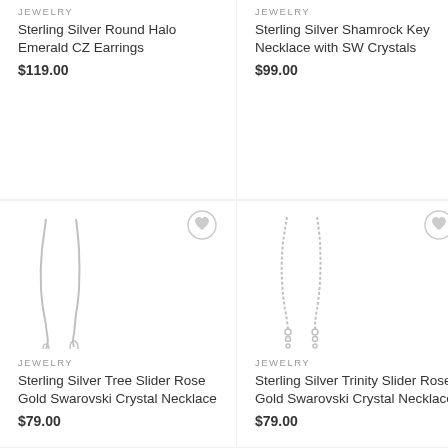JEWELRY
Sterling Silver Round Halo Emerald CZ Earrings
$119.00
[Figure (photo): Sterling silver earrings product image]
JEWELRY
Sterling Silver Shamrock Key Necklace with SW Crystals
$99.00
[Figure (photo): Sterling silver necklace product image]
[Figure (photo): Sterling silver tree slider necklace product image]
JEWELRY
Sterling Silver Tree Slider Rose Gold Swarovski Crystal Necklace
$79.00
[Figure (photo): Sterling silver trinity slider necklace product image]
JEWELRY
Sterling Silver Trinity Slider Rose Gold Swarovski Crystal Necklace
$79.00